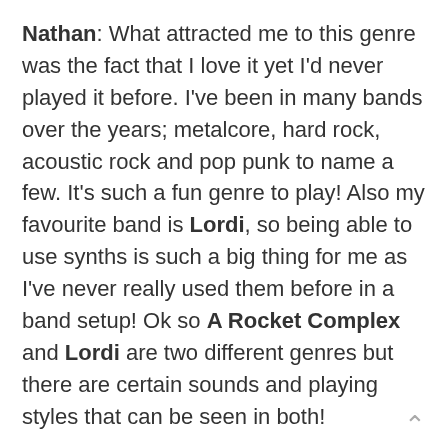Nathan: What attracted me to this genre was the fact that I love it yet I'd never played it before. I've been in many bands over the years; metalcore, hard rock, acoustic rock and pop punk to name a few. It's such a fun genre to play! Also my favourite band is Lordi, so being able to use synths is such a big thing for me as I've never really used them before in a band setup! Ok so A Rocket Complex and Lordi are two different genres but there are certain sounds and playing styles that can be seen in both!
Will: For me, when I write the songs, they come out how they do. Like a parent to a child relationship, it's such an organic process, that I tend not to try to objectify or pigeon hole the songs. Whilst writing I'm so in the moment of living the story, that it starts to become...